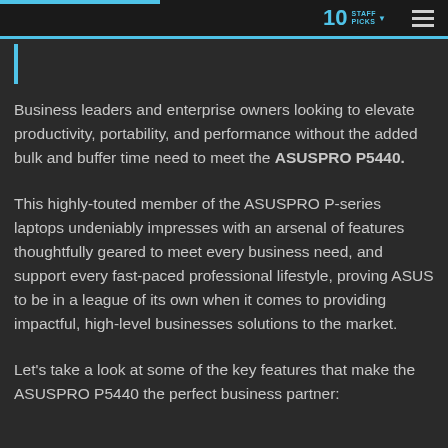10 STAFF PICKS
Business leaders and enterprise owners looking to elevate productivity, portability, and performance without the added bulk and buffer time need to meet the ASUSPRO P5440.
This highly-touted member of the ASUSPRO P-series laptops undeniably impresses with an arsenal of features thoughtfully geared to meet every business need, and support every fast-paced professional lifestyle, proving ASUS to be in a league of its own when it comes to providing impactful, high-level businesses solutions to the market.
Let's take a look at some of the key features that make the ASUSPRO P5440 the perfect business partner: